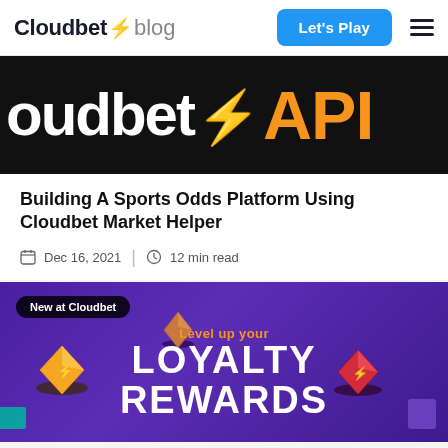Cloudbet blog
[Figure (screenshot): Cloudbet API logo on black background showing 'oudbet API' with orange lightning bolt]
Building A Sports Odds Platform Using Cloudbet Market Helper
Dec 16, 2021  |  12 min read
[Figure (illustration): Cloudbet loyalty rewards promotional banner on purple background with 3D gem icons. Text: 'New at Cloudbet', 'Level up your', 'LOYALTY REWARDS']